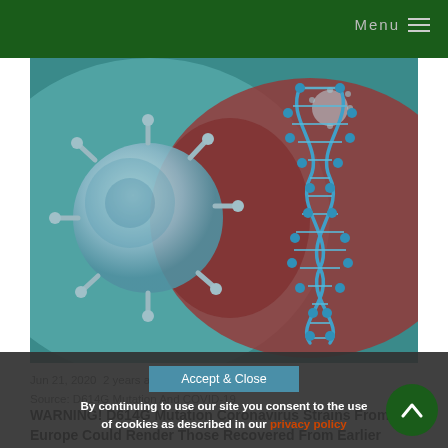Menu
[Figure (photo): Medical illustration showing a coronavirus particle (light blue spiky sphere) on the left and a DNA double helix strand (blue/teal) on the right, with a blurred red/teal background suggesting a viral biology theme.]
Jun 21, 2020  2 years ago
Source: D614G Mutation And COVID-19
WARNING! D614G Mutation Coronavirus Strains From Europe Could Render Those Recovered From Earlier Strains Defenseless According to China
By continuing to use our site you consent to the use of cookies as described in our privacy policy